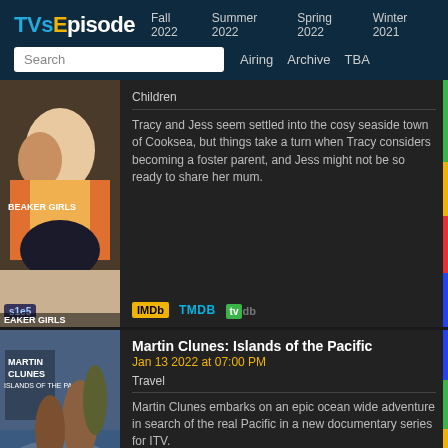TVsEpisode  Fall 2022  Summer 2022  Spring 2022  Winter 2021
Search  Airing  Archive  TBA
[Figure (photo): Thumbnail image for Beaker Girls s1e5 showing two girls and a black dog]
Children
Tracy and Jess seem settled into the cosy seaside town of Cooksea, but things take a turn when Tracy considers becoming a foster parent, and Jess might not be so ready to share her mum.
IMDb  TMDB  tvdb
[Figure (photo): Thumbnail image for Martin Clunes: Islands of the Pacific s1e3 showing Martin Clunes and others with a horse on a beach]
Martin Clunes: Islands of the Pacific
Jan 13 2022 at 07:00 PM
Travel
Martin Clunes embarks on an epic ocean wide adventure in search of the real Pacific in a new documentary series for ITV.